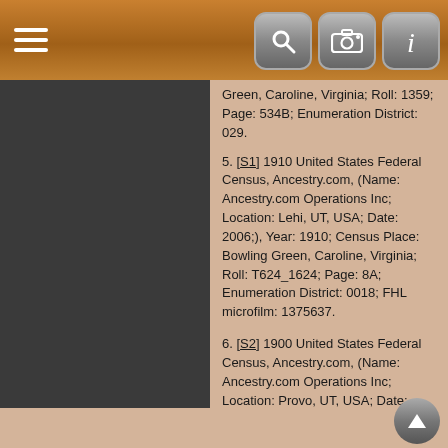Navigation bar with hamburger menu and icons for search, camera, info
Green, Caroline, Virginia; Roll: 1359; Page: 534B; Enumeration District: 029.
5. [S1] 1910 United States Federal Census, Ancestry.com, (Name: Ancestry.com Operations Inc; Location: Lehi, UT, USA; Date: 2006;), Year: 1910; Census Place: Bowling Green, Caroline, Virginia; Roll: T624_1624; Page: 8A; Enumeration District: 0018; FHL microfilm: 1375637.
6. [S2] 1900 United States Federal Census, Ancestry.com, (Name: Ancestry.com Operations Inc; Location: Provo, UT, USA; Date: 2004;), Year: 1900; Census Place: Bowling Green, Caroline, Virginia; Page: 6; Enumeration District: 0017; FHL microfilm: 1241702.
7. [S8] 1920 United States Federal Census, Ancestry.com, (Name: Ancestry.com Operations, Inc.; Location: Provo, UT, USA; Date: 2010;), Year: 1920; Census Place: Bowling Green, Caroline, Virginia; Roll: T625_1884; Page: 13B; Enumeration District: 20.